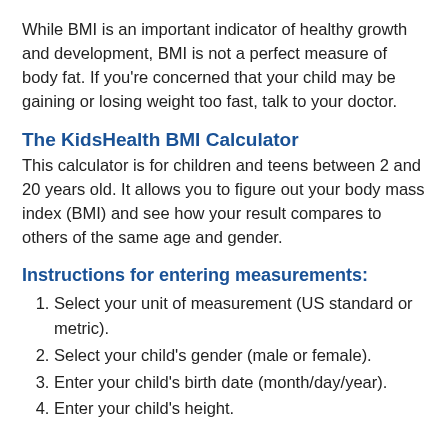While BMI is an important indicator of healthy growth and development, BMI is not a perfect measure of body fat. If you're concerned that your child may be gaining or losing weight too fast, talk to your doctor.
The KidsHealth BMI Calculator
This calculator is for children and teens between 2 and 20 years old. It allows you to figure out your body mass index (BMI) and see how your result compares to others of the same age and gender.
Instructions for entering measurements:
Select your unit of measurement (US standard or metric).
Select your child's gender (male or female).
Enter your child's birth date (month/day/year).
Enter your child's height.